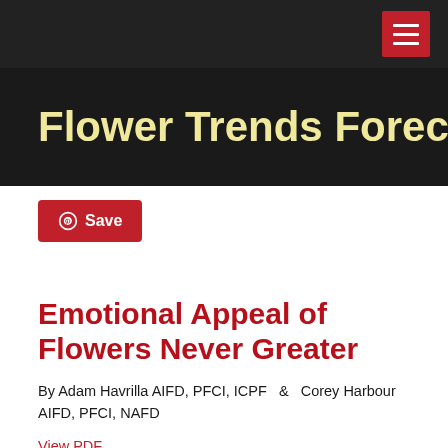Flower Trends Forecast
[Figure (other): Pinterest Save button with red background and white text]
Emotional Appeal of Flowers Never Greater
By Adam Havrilla AIFD, PFCI, ICPF  &  Corey Harbour AIFD, PFCI, NAFD
View PDF
As 2020 progresses, the need to find sanctuary and well-